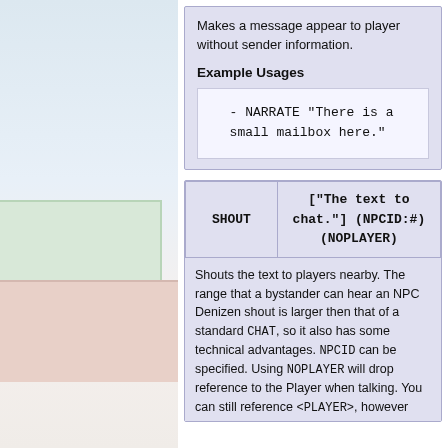Makes a message appear to player without sender information.
Example Usages
- NARRATE "There is a small mailbox here."
| SHOUT | ["The text to chat."] (NPCID:#) (NOPLAYER) |
| --- | --- |
Shouts the text to players nearby. The range that a bystander can hear an NPC Denizen shout is larger then that of a standard CHAT, so it also has some technical advantages. NPCID can be specified. Using NOPLAYER will drop reference to the Player when talking. You can still reference <PLAYER>, however